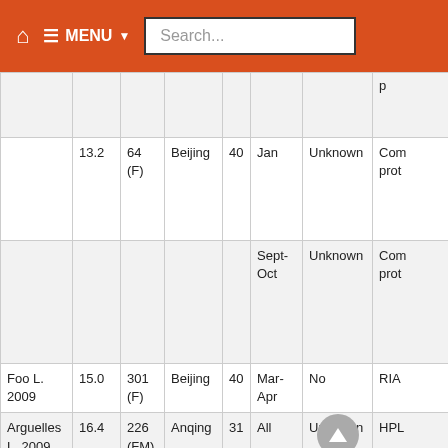Home | Menu | Search...
|  |  |  |  |  |  |  |  |
| --- | --- | --- | --- | --- | --- | --- | --- |
|  |  |  |  |  |  |  | p... |
|  | 13.2 | 64 (F) | Beijing | 40 | Jan | Unknown | Com prot |
|  |  |  |  |  |  | Sept-Oct | Unknown Com prot |
| Foo L. 2009 | 15.0 | 301 (F) | Beijing | 40 | Mar-Apr | No | RIA |
| Arguelles L. 2009 | 16.4 | 226 (FM) | Anqing | 31 | All | Unknown | HPL... |